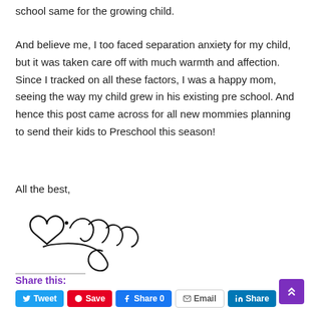school same for the growing child.
And believe me, I too faced separation anxiety for my child, but it was taken care off with much warmth and affection. Since I tracked on all these factors, I was a happy mom, seeing the way my child grew in his existing pre school. And hence this post came across for all new mommies planning to send their kids to Preschool this season!
All the best,
[Figure (illustration): A handwritten signature with a heart shape above it]
Share this:
Tweet | Save | Share 0 | Email | Share